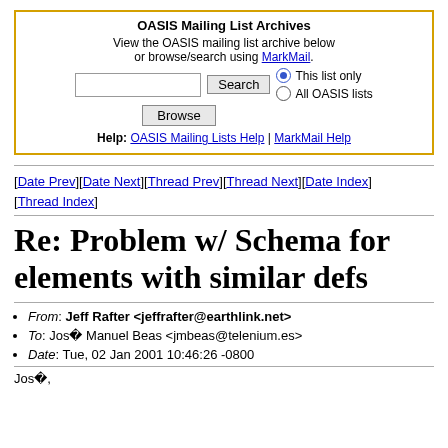[Figure (screenshot): OASIS Mailing List Archives search box with gold border, search input, Search button, Browse button, radio buttons for 'This list only' and 'All OASIS lists', and help links.]
[Date Prev][Date Next][Thread Prev][Thread Next][Date Index][Thread Index]
Re: Problem w/ Schema for elements with similar defs
From: Jeff Rafter <jeffrafter@earthlink.net>
To: Jos� Manuel Beas <jmbeas@telenium.es>
Date: Tue, 02 Jan 2001 10:46:26 -0800
Jos�,